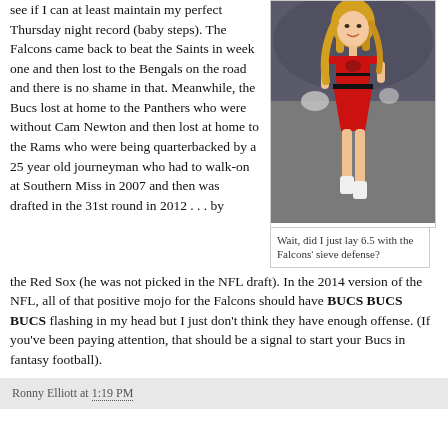see if I can at least maintain my perfect Thursday night record (baby steps). The Falcons came back to beat the Saints in week one and then lost to the Bengals on the road and there is no shame in that. Meanwhile, the Bucs lost at home to the Panthers who were without Cam Newton and then lost at home to the Rams who were being quarterbacked by a 25 year old journeyman who had to walk-on at Southern Miss in 2007 and then was drafted in the 31st round in 2012 . . . by the Red Sox (he was not picked in the NFL draft). In the 2014 version of the NFL, all of that positive mojo for the Falcons should have BUCS BUCS BUCS flashing in my head but I just don't think they have enough offense. (If you've been paying attention, that should be a signal to start your Bucs in fantasy football).
[Figure (photo): Atlanta Falcons cheerleader in red uniform running on field]
Wait, did I just lay 6.5 with the Falcons' sieve defense?
Email the FGR at fgr@fantasygolfreport.com.
Ronny Elliott at 1:19 PM